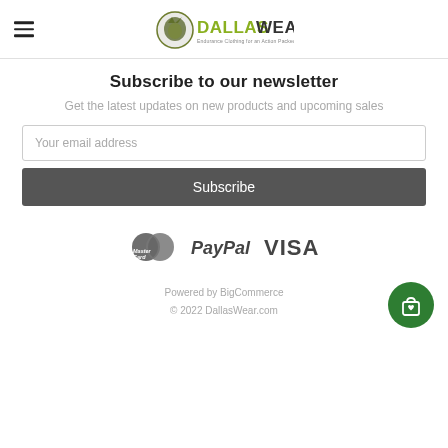DallasWear — Endurance Clothing for an Action Packed Life
Subscribe to our newsletter
Get the latest updates on new products and upcoming sales
Your email address
Subscribe
[Figure (logo): Payment logos: MasterCard, PayPal, VISA]
Powered by BigCommerce
© 2022 DallasWear.com